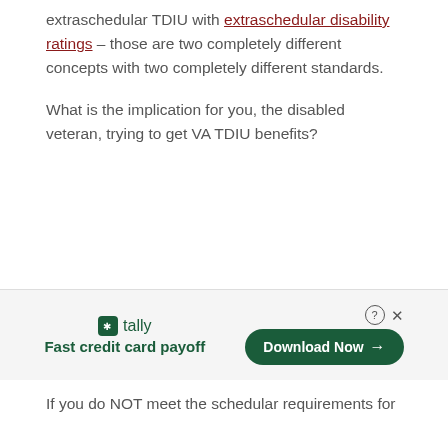extraschedular TDIU with extraschedular disability ratings – those are two completely different concepts with two completely different standards.
What is the implication for you, the disabled veteran, trying to get VA TDIU benefits?
[Figure (infographic): Advertisement banner for Tally app: logo with green square icon, brand name 'tally', tagline 'Fast credit card payoff', and a 'Download Now' button with arrow, plus close (X) and help (?) icons.]
If you do NOT meet the schedular requirements for